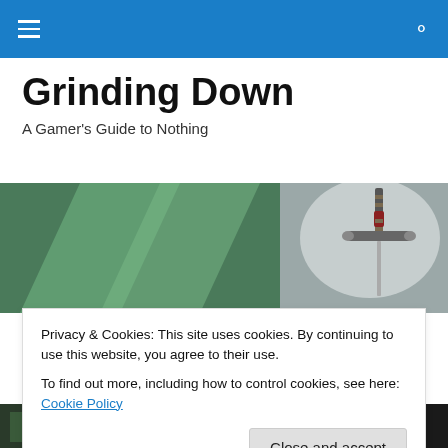Grinding Down — navigation bar with hamburger menu and search icon
Grinding Down
A Gamer's Guide to Nothing
[Figure (illustration): Hero banner image showing a fantasy scene with a sword and green foliage/forest background]
DAILY ARCHIVES: JANUARY 4, 2018
Privacy & Cookies: This site uses cookies. By continuing to use this website, you agree to their use.
To find out more, including how to control cookies, see here: Cookie Policy
Close and accept
[Figure (illustration): Bottom strip showing partial game screenshot with text WE ARE THE]